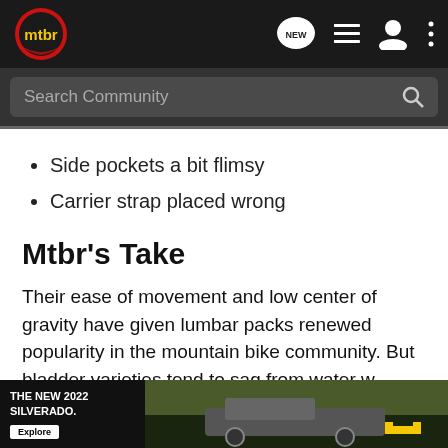mtbr navigation bar with logo and icons including NEW, list, user, and more
Search Community
Side pockets a bit flimsy
Carrier strap placed wrong
Mtbr's Take
Their ease of movement and low center of gravity have given lumbar packs renewed popularity in the mountain bike community. But bladder varieties tend to sag from water weight and more so to rest ag...
[Figure (other): Advertisement banner for THE NEW 2022 SILVERADO by Chevrolet with Explore button and truck photo]